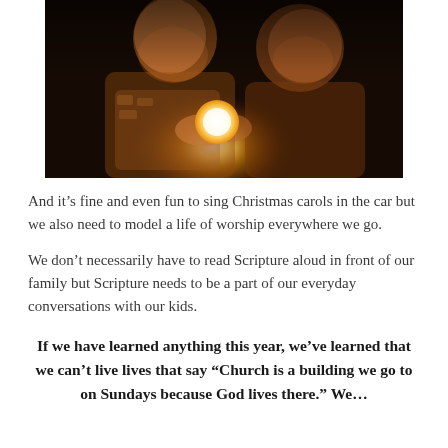[Figure (photo): Two young children in patterned winter jackets huddled together in the dark, looking at a glowing candle or light held in their hands. The scene is warmly lit by the candle against a very dark background.]
And it’s fine and even fun to sing Christmas carols in the car but we also need to model a life of worship everywhere we go.
We don’t necessarily have to read Scripture aloud in front of our family but Scripture needs to be a part of our everyday conversations with our kids.
If we have learned anything this year, we’ve learned that we can’t live lives that say “Church is a building we go to on Sundays because God lives there.” We…